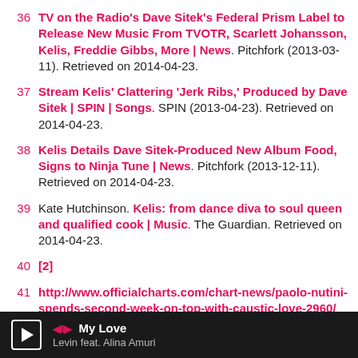36 TV on the Radio's Dave Sitek's Federal Prism Label to Release New Music From TVOTR, Scarlett Johansson, Kelis, Freddie Gibbs, More | News. Pitchfork (2013-03-11). Retrieved on 2014-04-23.
37 Stream Kelis' Clattering 'Jerk Ribs,' Produced by Dave Sitek | SPIN | Songs. SPIN (2013-04-23). Retrieved on 2014-04-23.
38 Kelis Details Dave Sitek-Produced New Album Food, Signs to Ninja Tune | News. Pitchfork (2013-12-11). Retrieved on 2014-04-23.
39 Kate Hutchinson. Kelis: from dance diva to soul queen and qualified cook | Music. The Guardian. Retrieved on 2014-04-23.
40 [2]
41 http://www.officialcharts.com/chart-news/paolo-nutini-spends-second-week-on-top-with-caustic-love-2960/
42 John Dingwall (2010-05-13). R&B star Kelis: I almost
My Love — Levin feat. Alina Amuri